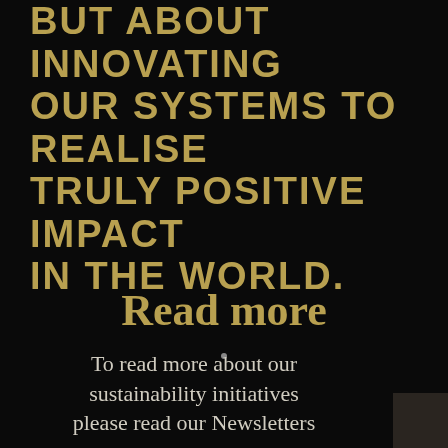BUT ABOUT INNOVATING OUR SYSTEMS TO REALISE TRULY POSITIVE IMPACT IN THE WORLD.
Read more
To read more about our sustainability initiatives please read our Newsletters